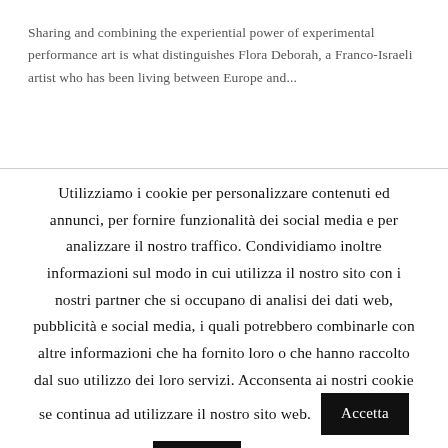Sharing and combining the experiential power of experimental performance art is what distinguishes Flora Deborah, a Franco-Israeli artist who has been living between Europe and...
Utilizziamo i cookie per personalizzare contenuti ed annunci, per fornire funzionalità dei social media e per analizzare il nostro traffico. Condividiamo inoltre informazioni sul modo in cui utilizza il nostro sito con i nostri partner che si occupano di analisi dei dati web, pubblicità e social media, i quali potrebbero combinarle con altre informazioni che ha fornito loro o che hanno raccolto dal suo utilizzo dei loro servizi. Acconsenta ai nostri cookie se continua ad utilizzare il nostro sito web.